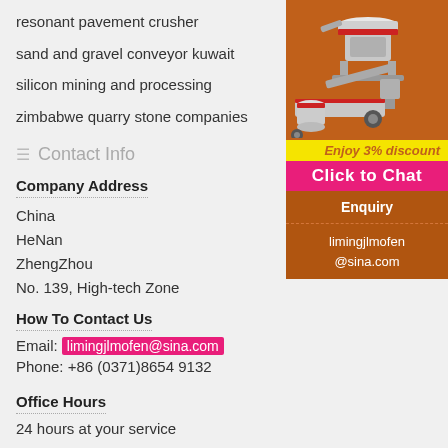resonant pavement crusher
sand and gravel conveyor kuwait
silicon mining and processing
zimbabwe quarry stone companies
Contact Info
Company Address
China
HeNan
ZhengZhou
No. 139, High-tech Zone
How To Contact Us
Email: limingjlmofen@sina.com
Phone: +86 (0371)8654 9132
Office Hours
24 hours at your service
[Figure (illustration): Mining machinery equipment advertisement with orange background showing crusher and conveyor equipment, with Enjoy 3% discount and Click to Chat buttons, Enquiry section showing limingjlmofen@sina.com]